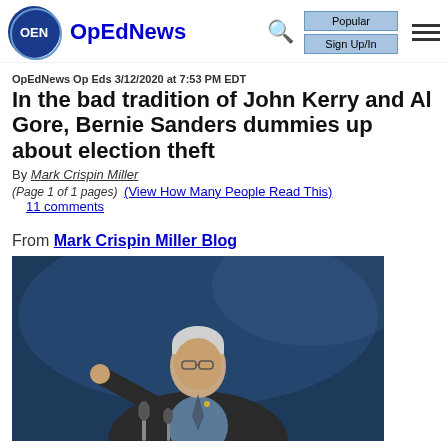OpEdNews | Popular | Sign Up/In
OpEdNews Op Eds 3/12/2020 at 7:53 PM EDT
In the bad tradition of John Kerry and Al Gore, Bernie Sanders dummies up about election theft
By Mark Crispin Miller
(Page 1 of 1 pages)  (View How Many People Read This)
11 comments
From Mark Crispin Miller Blog
[Figure (photo): Photo of Bernie Sanders pointing at a podium with microphones in front of a blue background]